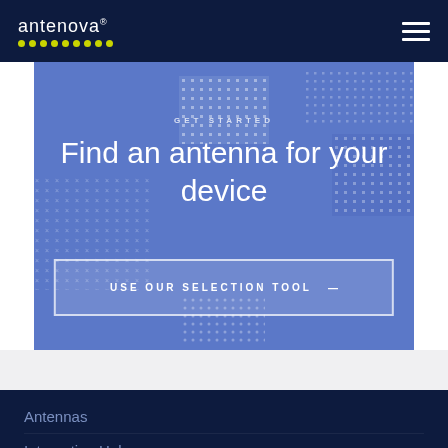antenova® [navigation menu]
Find an antenna for your device
GET STARTED
USE OUR SELECTION TOOL  —
Antennas
Integration Hub
About